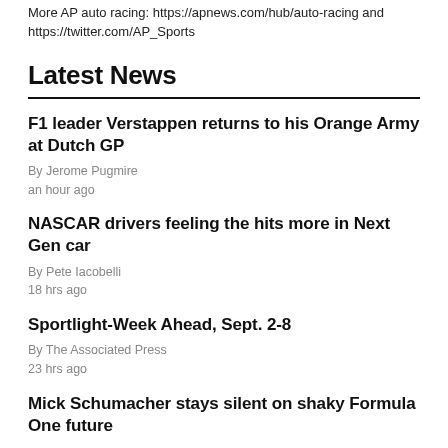More AP auto racing: https://apnews.com/hub/auto-racing and https://twitter.com/AP_Sports
Latest News
F1 leader Verstappen returns to his Orange Army at Dutch GP
By Jerome Pugmire
an hour ago
NASCAR drivers feeling the hits more in Next Gen car
By Pete Iacobelli
18 hrs ago
Sportlight-Week Ahead, Sept. 2-8
By The Associated Press
23 hrs ago
Mick Schumacher stays silent on shaky Formula One future